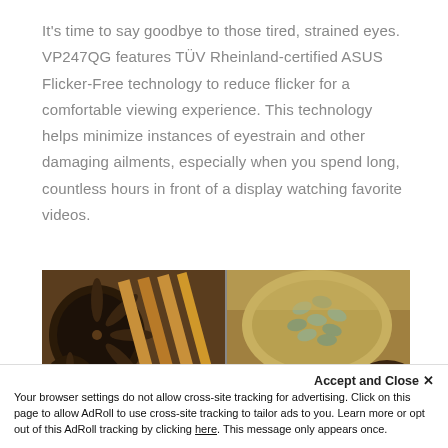It's time to say goodbye to those tired, strained eyes. VP247QG features TÜV Rheinland-certified ASUS Flicker-Free technology to reduce flicker for a comfortable viewing experience. This technology helps minimize instances of eyestrain and other damaging ailments, especially when you spend long, countless hours in front of a display watching favorite videos.
[Figure (photo): Two-panel photo of various spices in wooden bowls and spoons on a wooden surface: left panel shows star anise, cinnamon sticks, black pepper on spoons, and mustard seeds; right panel shows cardamom seeds, black pepper, and various ground spices in bowls.]
Accept and Close ✕
Your browser settings do not allow cross-site tracking for advertising. Click on this page to allow AdRoll to use cross-site tracking to tailor ads to you. Learn more or opt out of this AdRoll tracking by clicking here. This message only appears once.